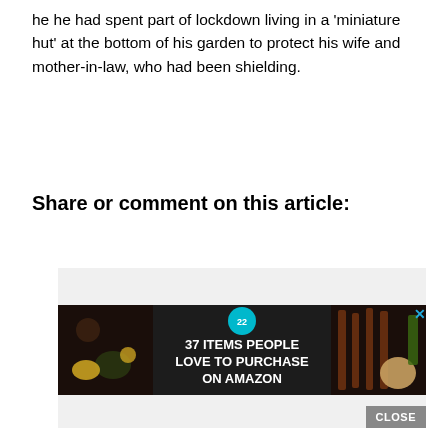he he had spent part of lockdown living in a 'miniature hut' at the bottom of his garden to protect his wife and mother-in-law, who had been shielding.
Share or comment on this article:
[Figure (screenshot): Advertisement banner showing '37 ITEMS PEOPLE LOVE TO PURCHASE ON AMAZON' with a teal badge showing '22', set against a dark background with kitchen knives and food items. Has an X close button and a CLOSE button.]